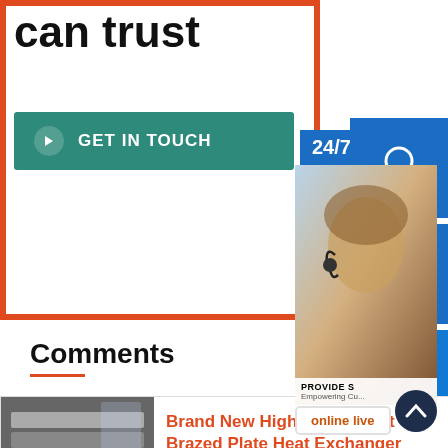can trust
GET IN TOUCH
[Figure (illustration): Customer support sidebar with 24/7 label, headset icon, phone icon, Skype icon, and online live button over agent photo]
Comments
[Figure (photo): Photo of stacked flat brazed plate heat exchanger condensers in a manufacturing facility]
Brand New High Quality Flat Brazed Plate Heat Exchanger Condenser